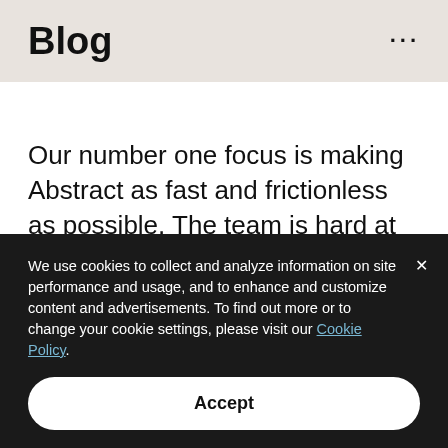Blog
Our number one focus is making Abstract as fast and frictionless as possible. The team is hard at work on supporting new file formats (more from us on that soon!). We are improving our core workflow, making it easier to share with anyone so you can get the
We use cookies to collect and analyze information on site performance and usage, and to enhance and customize content and advertisements. To find out more or to change your cookie settings, please visit our Cookie Policy.
Accept